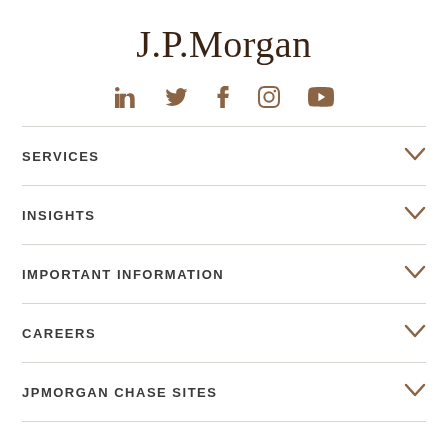J.P.Morgan
[Figure (infographic): Social media icons row: LinkedIn, Twitter, Facebook, Instagram, YouTube in brown color]
SERVICES
INSIGHTS
IMPORTANT INFORMATION
CAREERS
JPMORGAN CHASE SITES